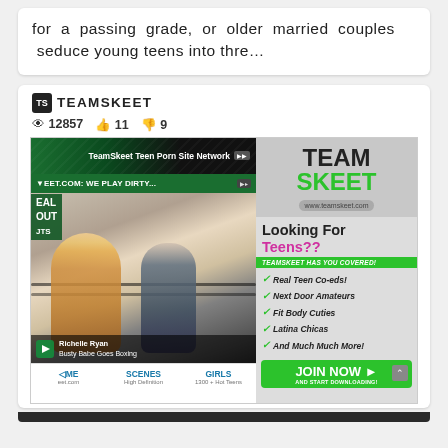for a passing grade, or older married couples seduce young teens into thre...
[Figure (screenshot): Screenshot of a video streaming page showing a TeamSkeet adult content advertisement with channel name, view/like counts (12857 views, 11 likes, 9 dislikes), and an embedded promotional image for TeamSkeet Teen Porn Site Network with 'Looking For Teens??' tagline, featuring bulleted list: Real Teen Co-eds!, Next Door Amateurs, Fit Body Cuties, Latina Chicas, And Much Much More!, JOIN NOW button, and video thumbnail labeled 'Richelle Ryan - Busty Babe Goes Boxing']